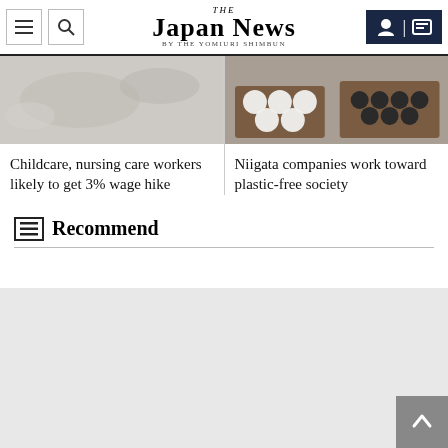THE JAPAN NEWS by the Yomiuri Shimbun
[Figure (photo): Gray marble or stone texture background image, left article thumbnail]
Childcare, nursing care workers likely to get 3% wage hike
[Figure (photo): White circular items and black round objects in brown wooden boxes, right article thumbnail]
Niigata companies work toward plastic-free society
Recommend